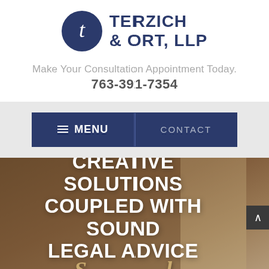[Figure (logo): Terzich & Ort, LLP circular logo with letter T cross design in dark navy blue circle, alongside firm name text]
Make Your Consultation Appointment Today.
763-391-7354
[Figure (screenshot): Navigation bar with dark navy MENU button with hamburger icon on left and CONTACT text on right, on light gray background]
CREATIVE SOLUTIONS COUPLED WITH SOUND LEGAL ADVICE